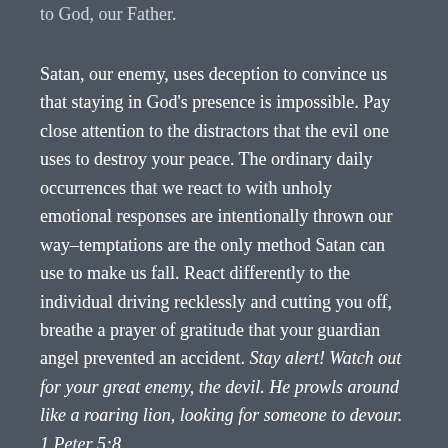to God, our Father.
Satan, our enemy, uses deception to convince us that staying in God’s presence is impossible. Pay close attention to the distractors that the evil one uses to destroy your peace. The ordinary daily occurrences that we react to with unholy emotional responses are intentionally thrown our way–temptations are the only method Satan can use to make us fall. React differently to the individual driving recklessly and cutting you off, breathe a prayer of gratitude that your guardian angel prevented an accident. Stay alert! Watch out for your great enemy, the devil. He prowls around like a roaring lion, looking for someone to devour. 1 Peter 5:8